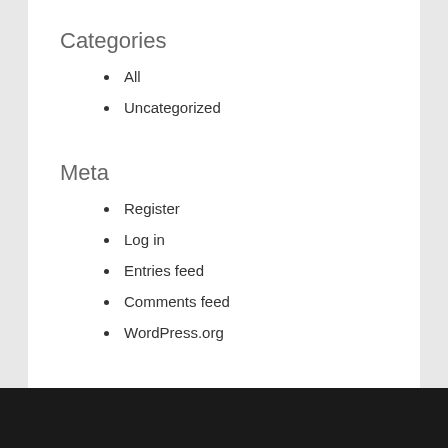Categories
All
Uncategorized
Meta
Register
Log in
Entries feed
Comments feed
WordPress.org